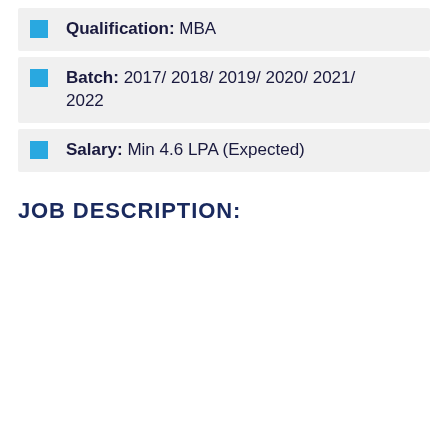Qualification: MBA
Batch: 2017/ 2018/ 2019/ 2020/ 2021/ 2022
Salary: Min 4.6 LPA (Expected)
JOB DESCRIPTION: